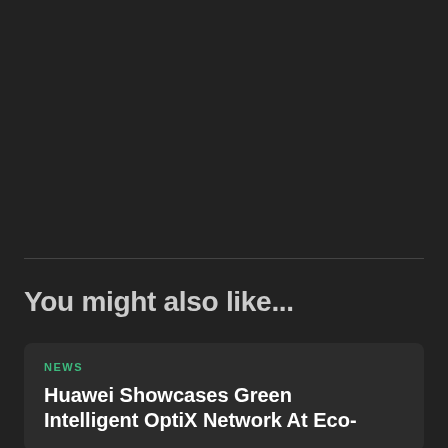You might also like...
NEWS
Huawei Showcases Green Intelligent OptiX Network At Eco-